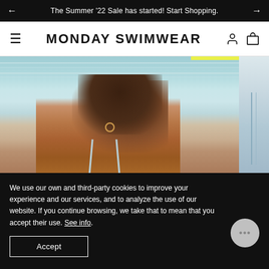The Summer '22 Sale has started! Start Shopping.
MONDAY SWIMWEAR
[Figure (photo): A woman with wet braided hair wearing a light blue swimsuit top, photographed at a beach with turquoise water in the background. Partial view of another garment on the right side.]
We use our own and third-party cookies to improve your experience and our services, and to analyze the use of our website. If you continue browsing, we take that to mean that you accept their use. See info.
Accept